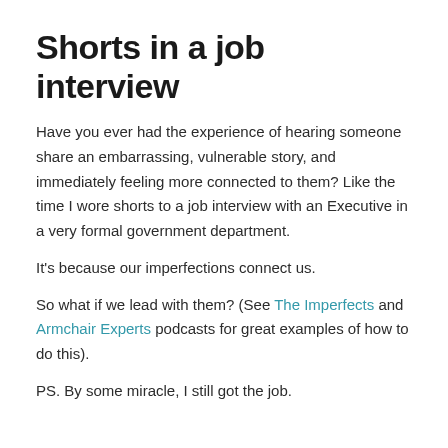Shorts in a job interview
Have you ever had the experience of hearing someone share an embarrassing, vulnerable story, and immediately feeling more connected to them? Like the time I wore shorts to a job interview with an Executive in a very formal government department.
It’s because our imperfections connect us.
So what if we lead with them? (See The Imperfects and Armchair Experts podcasts for great examples of how to do this).
PS. By some miracle, I still got the job.